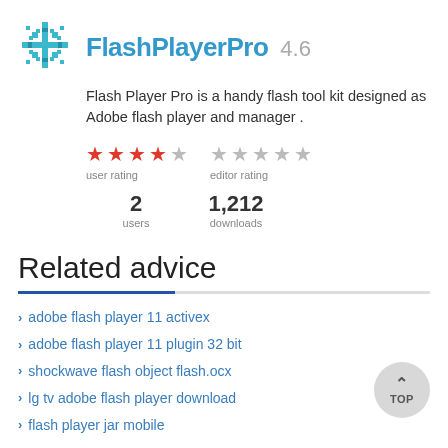FlashPlayerPro 4.6
Flash Player Pro is a handy flash tool kit designed as Adobe flash player and manager .
[Figure (infographic): Star ratings: user rating (4 out of 5 red stars), editor rating (1 out of 5 grey stars)]
2 users   1,212 downloads
Related advice
adobe flash player 11 activex
adobe flash player 11 plugin 32 bit
shockwave flash object flash.ocx
lg tv adobe flash player download
flash player jar mobile